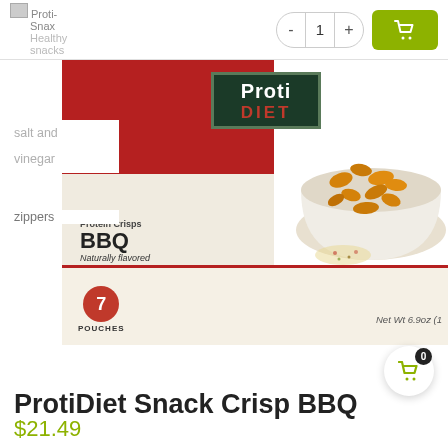Proti-Snax | Healthy snacks salt and vinegar | zippers | - 1 + [cart button]
[Figure (photo): ProtiDiet Protein Crisps BBQ box with bowl of BBQ snack crisps, red and cream packaging, 7 pouches, Net Wt 6.9oz]
ProtiDiet Snack Crisp BBQ
$21.49